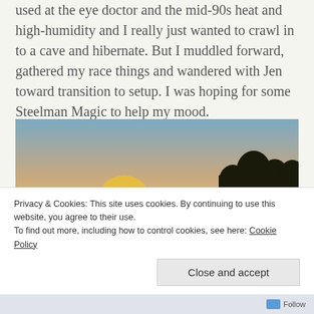used at the eye doctor and the mid-90s heat and high-humidity and I really just wanted to crawl in to a cave and hibernate. But I muddled forward, gathered my race things and wandered with Jen toward transition to setup. I was hoping for some Steelman Magic to help my mood.
[Figure (photo): Outdoor sunset scene over a lake or river with trees silhouetted on the right, a crowd of people visible at the bottom, warm orange and golden sky tones]
Privacy & Cookies: This site uses cookies. By continuing to use this website, you agree to their use.
To find out more, including how to control cookies, see here: Cookie Policy
+ Follow